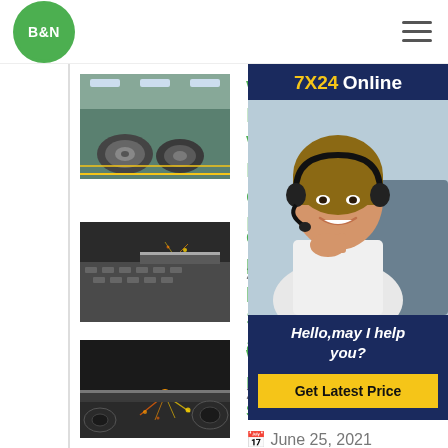B&N
[Figure (photo): Steel coils in a factory warehouse with yellow floor markings]
Weighing PlatesBuy W... Plates Online at Best
June 25, 2021
[Figure (photo): Checkered steel plate being cut with sparks]
checkered plate chec... plate Suppliers and
June 25, 2021
[Figure (photo): Steel plate cutting with laser sparks, dark industrial setting]
wodon super wear resistant steel plate
June 25, 2021
[Figure (photo): Customer service agent with headset smiling, 7X24 Online support sidebar with Get Latest Price button]